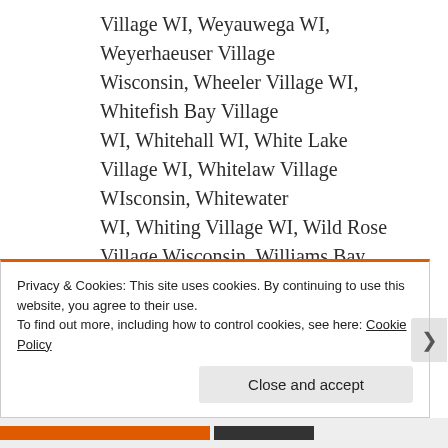Village WI, Weyauwega WI, Weyerhaeuser Village Wisconsin, Wheeler Village WI, Whitefish Bay Village WI, Whitehall WI, White Lake Village WI, Whitelaw Village WIsconsin, Whitewater WI, Whiting Village WI, Wild Rose Village Wisconsin, Williams Bay Village, Wilson Village
Privacy & Cookies: This site uses cookies. By continuing to use this website, you agree to their use.
To find out more, including how to control cookies, see here: Cookie Policy